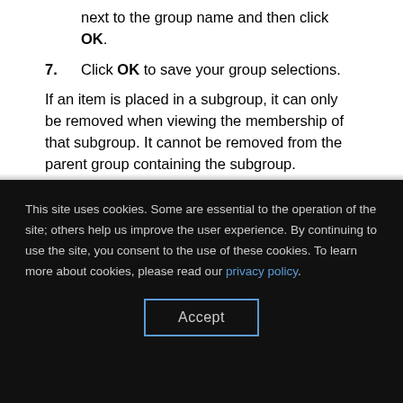next to the group name and then click OK.
7. Click OK to save your group selections.
If an item is placed in a subgroup, it can only be removed when viewing the membership of that subgroup. It cannot be removed from the parent group containing the subgroup.
For example, the L2 network devices group contains the wired devices and wireless devices subgroups. The wired devices subgroup contains four 3COM switches. The wireless devices
This site uses cookies. Some are essential to the operation of the site; others help us improve the user experience. By continuing to use the site, you consent to the use of these cookies. To learn more about cookies, please read our privacy policy.
Accept